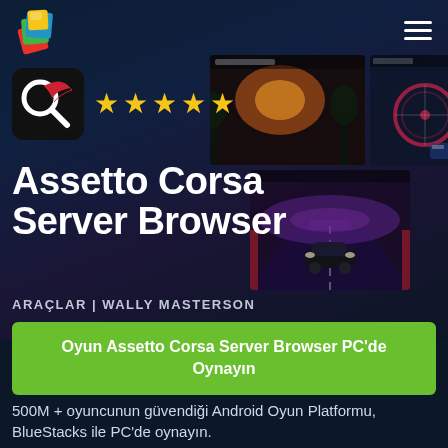[Figure (screenshot): BlueStacks app page for Assetto Corsa Server Browser with dark blue gaming background, app icon, 5 stars, green CTA button, and description text]
Assetto Corsa Server Browser
ARAÇLAR | WALLY MASTERSON
Oyun Assetto Corsa Server Browser PC'de Oynayın
500M + oyuncunun güvendiği Android Oyun Platformu, BlueStacks ile PC'de oynayın.